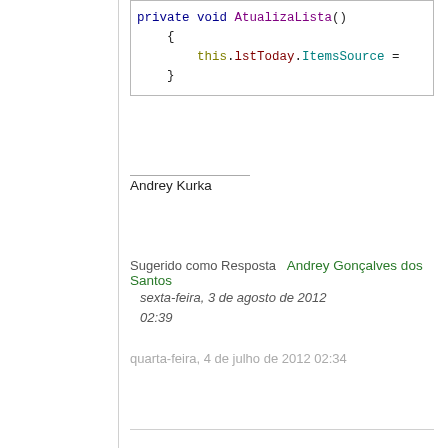[Figure (screenshot): Code block showing a C# method: private void AtualizaLista() with a call to this.lstToday.ItemsSource on the right side (truncated)]
Andrey Kurka
Sugerido como Resposta   Andrey Gonçalves dos Santos
sexta-feira, 3 de agosto de 2012 02:39
quarta-feira, 4 de julho de 2012 02:34